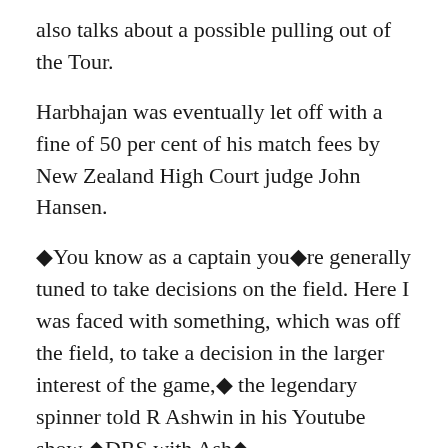also talks about a possible pulling out of the Tour.
Harbhajan was eventually let off with a fine of 50 per cent of his match fees by New Zealand High Court judge John Hansen.
◆You know as a captain you◆re generally tuned to take decisions on the field. Here I was faced with something, which was off the field, to take a decision in the larger interest of the game,◆ the legendary spinner told R Ashwin in his Youtube show ◆DRS with Ash◆.
The 49-year-old Kumble ◆ the country◆s highest Test wicket-taker with 619 scalps from 132 matches, also made it clear that he felt Harbhajan was ◆wronged◆ by the decision of the ICC.